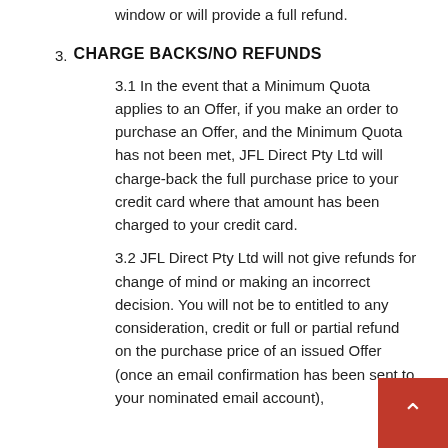window or will provide a full refund.
3. CHARGE BACKS/NO REFUNDS
3.1 In the event that a Minimum Quota applies to an Offer, if you make an order to purchase an Offer, and the Minimum Quota has not been met, JFL Direct Pty Ltd will charge-back the full purchase price to your credit card where that amount has been charged to your credit card.
3.2 JFL Direct Pty Ltd will not give refunds for change of mind or making an incorrect decision. You will not be to entitled to any consideration, credit or full or partial refund on the purchase price of an issued Offer (once an email confirmation has been sent to your nominated email account),